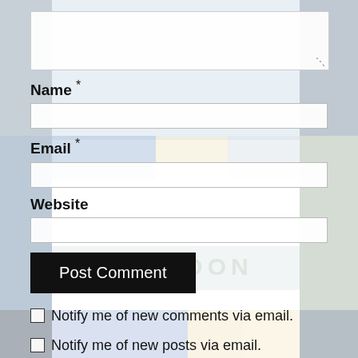[Figure (screenshot): Background collage of multiple themed images (animation/movie stills, colorful scenes), partially visible as a grid behind the comment form UI]
Name *
Email *
Website
Post Comment
Notify me of new comments via email.
Notify me of new posts via email.